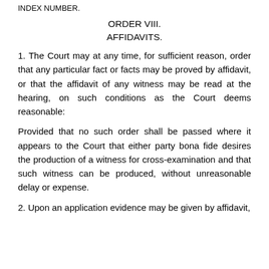INDEX NUMBER.
ORDER VIII.
AFFIDAVITS.
1. The Court may at any time, for sufficient reason, order that any particular fact or facts may be proved by affidavit, or that the affidavit of any witness may be read at the hearing, on such conditions as the Court deems reasonable:
Provided that no such order shall be passed where it appears to the Court that either party bona fide desires the production of a witness for cross-examination and that such witness can be produced, without unreasonable delay or expense.
2. Upon an application evidence may be given by affidavit,